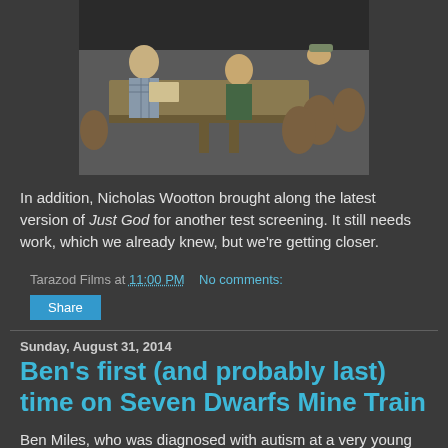[Figure (photo): People sitting around a conference table in a meeting room, viewed from the side. Several chairs with people seated, a long table with papers.]
In addition, Nicholas Wootton brought along the latest version of Just God for another test screening. It still needs work, which we already knew, but we're getting closer.
Tarazod Films at 11:00 PM   No comments:
Share
Sunday, August 31, 2014
Ben's first (and probably last) time on Seven Dwarfs Mine Train
Ben Miles, who was diagnosed with autism at a very young